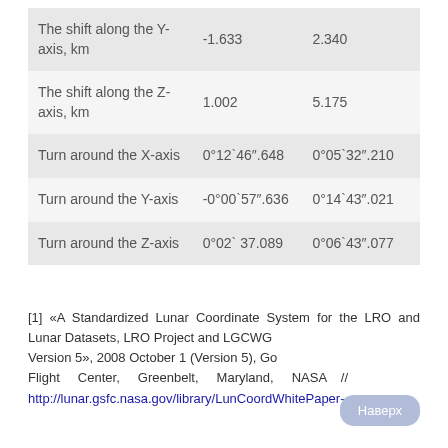| The shift along the Y-axis, km | -1.633 | 2.340 |
| The shift along the Z-axis, km | 1.002 | 5.175 |
| Turn around the X-axis | 0°12`46".648 | 0°05`32".210 |
| Turn around the Y-axis | -0°00`57".636 | 0°14`43".021 |
| Turn around the Z-axis | 0°02` 37.089 | 0°06`43".077 |
[1] «A Standardized Lunar Coordinate System for the LRO and Lunar Datasets, LRO Project and LGCWG White Paper Version 5», 2008 October 1 (Version 5), Goddard Space Flight Center, Greenbelt, Maryland, NASA // http://lunar.gsfc.nasa.gov/library/LunCoordWhitePaper-